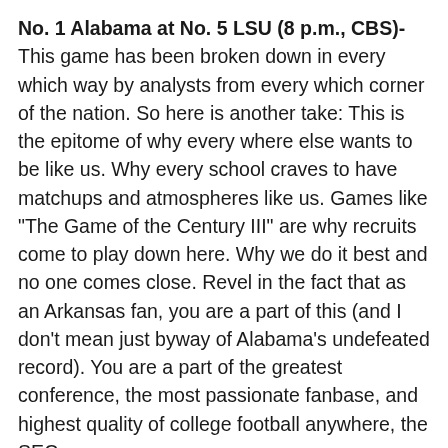No. 1 Alabama at No. 5 LSU (8 p.m., CBS)- This game has been broken down in every which way by analysts from every which corner of the nation. So here is another take: This is the epitome of why every where else wants to be like us. Why every school craves to have matchups and atmospheres like us. Games like "The Game of the Century III" are why recruits come to play down here. Why we do it best and no one comes close. Revel in the fact that as an Arkansas fan, you are a part of this (and I don't mean just byway of Alabama's undefeated record). You are a part of the greatest conference, the most passionate fanbase, and highest quality of college football anywhere, the SEC.
[Figure (logo): Round red team logo with stylized figure]